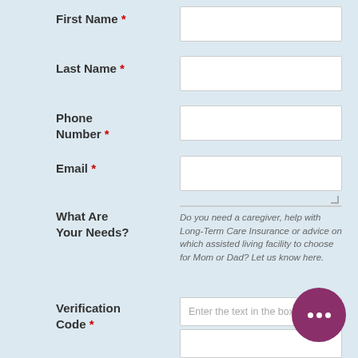First Name *
Last Name *
Phone Number *
Email *
What Are Your Needs?
Do you need a caregiver, help with Long-Term Care Insurance or advice on which assisted living facility to choose for Mom or Dad? Let us know here.
Verification Code *
Enter the text in the box below